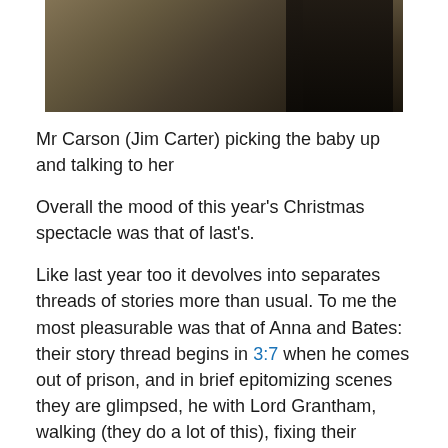[Figure (photo): Dark photograph showing stone architectural elements and a figure in black, partially cropped at the top of the page.]
Mr Carson (Jim Carter) picking the baby up and talking to her
Overall the mood of this year’s Christmas spectacle was that of last’s.
Like last year too it devolves into separates threads of stories more than usual. To me the most pleasurable was that of Anna and Bates: their story thread begins in 3:7 when he comes out of prison, and in brief epitomizing scenes they are glimpsed, he with Lord Grantham, walking (they do a lot of this), fixing their house: Scotland is a holiday for them too: again, the walking, a picnic, her resolution to dance, the practicing with Lady Rose (who